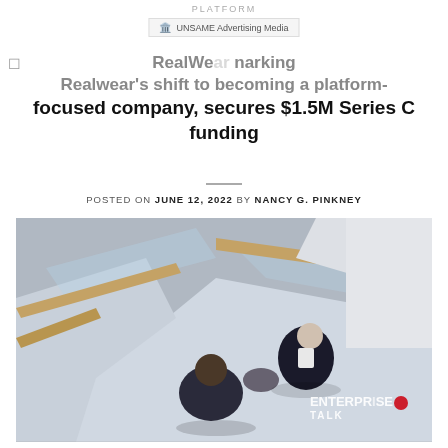PLATFORM
RealWear marking Realwear's shift to becoming a platform-focused company, secures $1.5M Series C funding
POSTED ON JUNE 12, 2022 BY NANCY G. PINKNEY
[Figure (photo): Two businesspeople shaking hands on a staircase with glass railings, aerial top-down view. A news badge in the top-left corner shows '12 Jun' in a white box and 'NEWS' on a red banner. The Enterprise Talk logo appears in the bottom-right corner.]